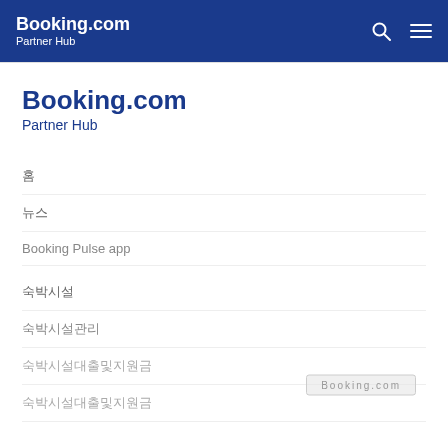Booking.com Partner Hub
Booking.com
Partner Hub
홈
뉴스
Booking Pulse app
숙박시설
숙박시설관리
숙박시설대출및지원금
숙박시설대출및지원금